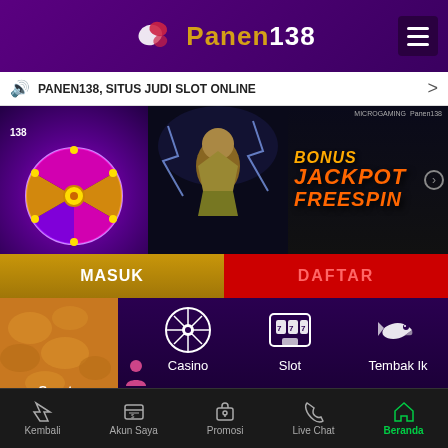[Figure (screenshot): Panen138 online gambling website header with purple gradient background, logo with leaf icon and gold text]
PANEN138, SITUS JUDI SLOT ONLINE
[Figure (illustration): Banner with spinning wheel, warrior character, and text: BONUS JACKPOT FREESPIN]
MASUK
DAFTAR
[Figure (infographic): Game category icons: Sports, Casino, Slot, Tembak Ik on dark purple background]
Sports
Casino
Slot
Tembak Ik
PROGRESSIVE JACKPOT
16 300 618 242 91
Kembali   Akun Saya   Promosi   Live Chat   Beranda